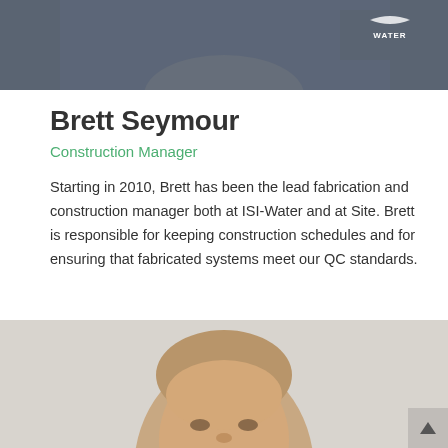[Figure (photo): Partial photo of a person wearing a grey ISI-Water branded shirt, cropped at the top of the page]
Brett Seymour
Construction Manager
Starting in 2010, Brett has been the lead fabrication and construction manager both at ISI-Water and at Site. Brett is responsible for keeping construction schedules and for ensuring that fabricated systems meet our QC standards.
[Figure (photo): Portrait photo of a young man with short light brown hair against a grey background, cropped at bottom of the page]